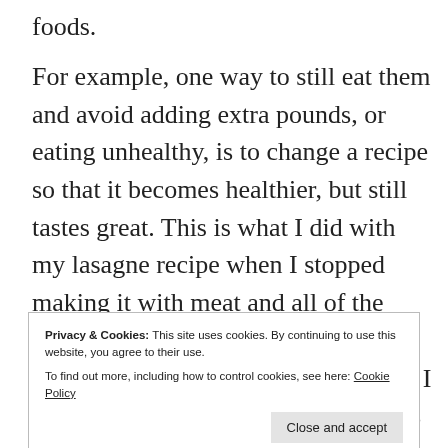foods.
For example, one way to still eat them and avoid adding extra pounds, or eating unhealthy, is to change a recipe so that it becomes healthier, but still tastes great. This is what I did with my lasagne recipe when I stopped making it with meat and all of the extra, delicious, but unnecessary cheese. It is absolutely scrumptious!  I will post a recipe for that lasagne this week in what will be Salubrity and
Privacy & Cookies: This site uses cookies. By continuing to use this website, you agree to their use.
To find out more, including how to control cookies, see here: Cookie Policy
conundrum and feel the need to eat healthier after